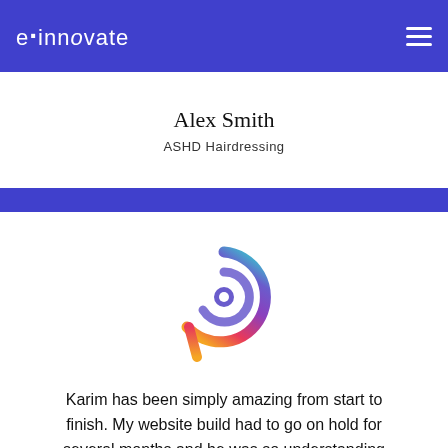e·innovate
Alex Smith
ASHD Hairdressing
[Figure (logo): Colorful spiral logo resembling the letter b or p, with gradient colors from orange/red at bottom to purple at top and teal at the end of the spiral tail]
Karim has been simply amazing from start to finish. My website build had to go on hold for several months and he was so understanding even moving my website